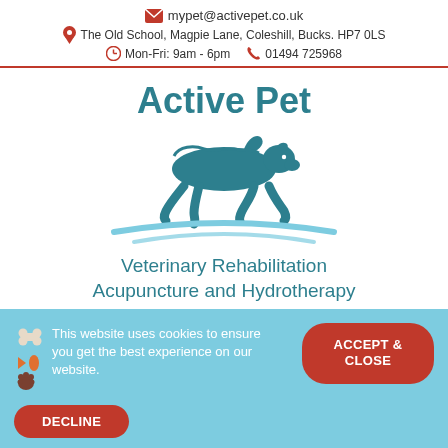mypet@activepet.co.uk | The Old School, Magpie Lane, Coleshill, Bucks. HP7 0LS | Mon-Fri: 9am - 6pm | 01494 725968
Active Pet
[Figure (logo): Running dog silhouette logo in teal/blue color with swoosh lines beneath]
Veterinary Rehabilitation Acupuncture and Hydrotherapy
This website uses cookies to ensure you get the best experience on our website.
ACCEPT & CLOSE
DECLINE